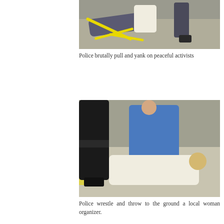[Figure (photo): Photograph showing a person lying on the ground with yellow police tape around them, with other figures visible nearby on pavement.]
Police brutally pull and yank on peaceful activists
[Figure (photo): Photograph showing police officers wrestling a person to the ground on a sidewalk, with another officer visible in the background.]
Police wrestle and throw to the ground a local woman organizer.